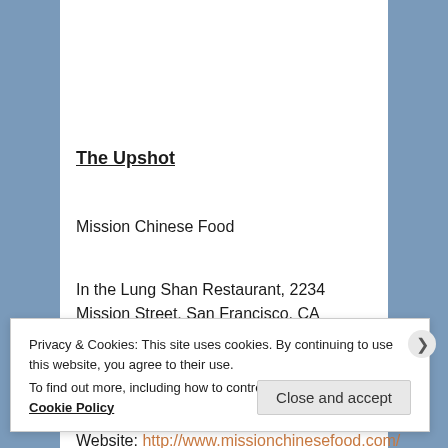The Upshot
Mission Chinese Food
In the Lung Shan Restaurant, 2234 Mission Street, San Francisco, CA 94110
(415) 863-2800
Website: http://www.missionchinesefood.com/
Privacy & Cookies: This site uses cookies. By continuing to use this website, you agree to their use.
To find out more, including how to control cookies, see here: Cookie Policy